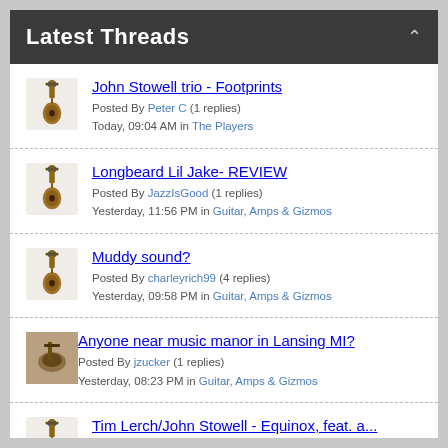Latest Threads
John Stowell trio - Footprints
Posted By Peter C (1 replies)
Today, 09:04 AM in The Players
Longbeard Lil Jake- REVIEW
Posted By JazzIsGood (1 replies)
Yesterday, 11:56 PM in Guitar, Amps & Gizmos
Muddy sound?
Posted By charleyrich99 (4 replies)
Yesterday, 09:58 PM in Guitar, Amps & Gizmos
Anyone near music manor in Lansing MI?
Posted By jzucker (1 replies)
Yesterday, 08:23 PM in Guitar, Amps & Gizmos
Tim Lerch/John Stowell - Equinox, feat. a...